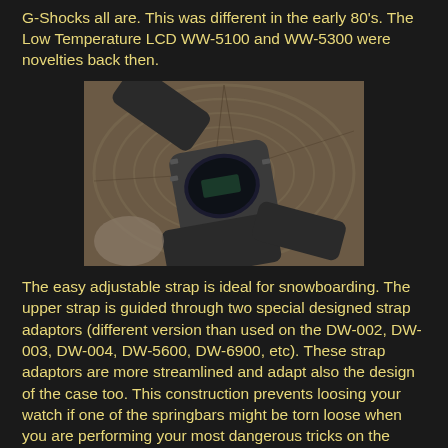G-Shocks all are. This was different in the early 80's. The Low Temperature LCD WW-5100 and WW-5300 were novelties back then.
[Figure (photo): A G-Shock watch with adjustable strap laid on a wooden log cross-section surface]
The easy adjustable strap is ideal for snowboarding. The upper strap is guided through two special designed strap adaptors (different version than used on the DW-002, DW-003, DW-004, DW-5600, DW-6900, etc). These strap adaptors are more streamlined and adapt also the design of the case too. This construction prevents loosing your watch if one of the springbars might be torn loose when you are performing your most dangerous tricks on the slopes and your strap is hanging behind something.
[Figure (photo): Partial view of another watch image at the bottom of the page]